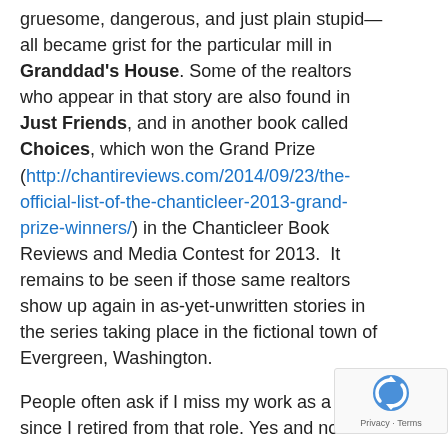gruesome, dangerous, and just plain stupid—all became grist for the particular mill in Granddad's House. Some of the realtors who appear in that story are also found in Just Friends, and in another book called Choices, which won the Grand Prize (http://chantireviews.com/2014/09/23/the-official-list-of-the-chanticleer-2013-grand-prize-winners/) in the Chanticleer Book Reviews and Media Contest for 2013.  It remains to be seen if those same realtors show up again in as-yet-unwritten stories in the series taking place in the fictional town of Evergreen, Washington.
People often ask if I miss my work as a realtor since I retired from that role. Yes and no. I still remain open to answering questions my friends ask, usually for their relatives or acquaintances.
[Figure (other): reCAPTCHA badge with Privacy and Terms text]